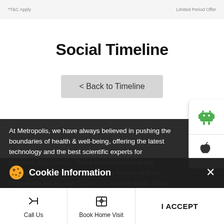*T&C Apply
Limited Period Offer
Social Timeline
< Back to Timeline
At Metropolis, we have always believed in pushing the boundaries of health & well-being, offering the latest technology and the best scientific experts for accurate diagnostics. These reasons have made Metropolis a global leader in quality testing and the first private lab to start COVID-19 tests in India. In this ever-evolving COVID-19 scenario, our commitment to your safety & inner health has only grown stronger.
Cookie Information
On our website, we use services (including from third-party providers) that help us to improve our online presence (optimization of website) and to display content that is geared to their interests. We need your consent before being able to use these services.
I ACCEPT
Call Us
Book Home Visit
Directions